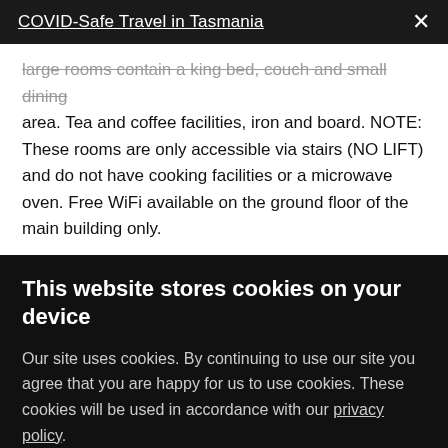COVID-Safe Travel in Tasmania
large rooms contain a king bed, couch and small dining area. Tea and coffee facilities, iron and board. NOTE: These rooms are only accessible via stairs (NO LIFT) and do not have cooking facilities or a microwave oven. Free WiFi available on the ground floor of the main building only.
This website stores cookies on your device
Our site uses cookies. By continuing to use our site you agree that you are happy for us to use cookies. These cookies will be used in accordance with our privacy policy.
Accept  Decline